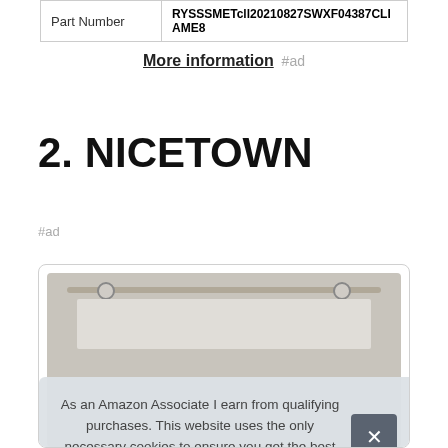| Part Number | RYSSSMETcll20210827SWXF04387CLIAME8 |
| --- | --- |
More information #ad
2. NICETOWN
#ad
[Figure (photo): Product card showing curtain/drape on a rod, partially obscured by a cookie consent overlay.]
As an Amazon Associate I earn from qualifying purchases. This website uses the only necessary cookies to ensure you get the best experience on our website. More information